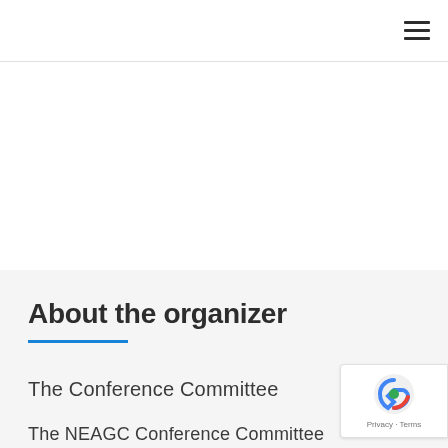About the organizer
The Conference Committee
The NEAGC Conference Committee